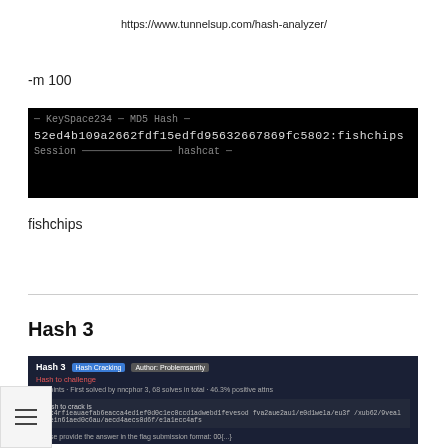https://www.tunnelsup.com/hash-analyzer/
-m 100
[Figure (screenshot): Terminal screenshot showing hash cracking output: 52ed4b109a2662fdf15edfd95632667869fc5802:fishchips]
fishchips
Hash 3
[Figure (screenshot): Screenshot of Hash 3 challenge page showing hash cracking challenge with a long hash string and flag submission format: 00{...}]